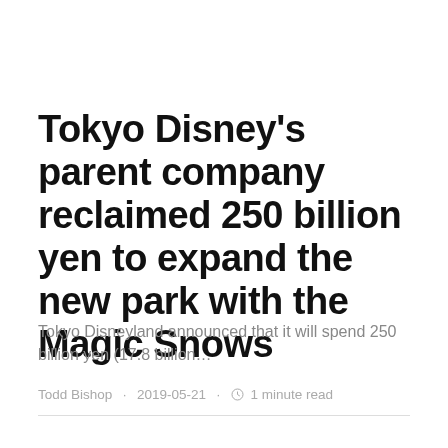Tokyo Disney’s parent company reclaimed 250 billion yen to expand the new park with the Magic Snows
Tokyo Disneyland announced that it will spend 250 billion yen (17.8 billion…
Todd Bishop · 2019-05-21 · ⌚ 1 minute read
[Figure (photo): Gray image block with a Markets tag label in the bottom-right corner]